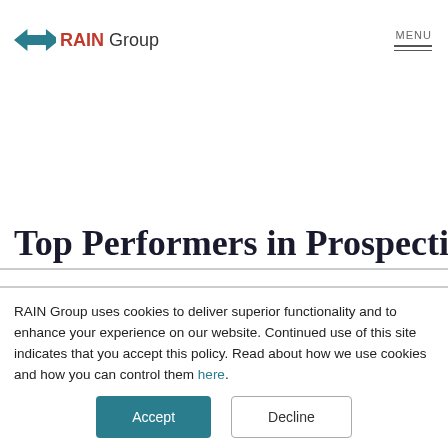RAIN Group — MENU
Top Performers in Prospecting
RAIN Group uses cookies to deliver superior functionality and to enhance your experience on our website. Continued use of this site indicates that you accept this policy. Read about how we use cookies and how you can control them here.
Accept | Decline